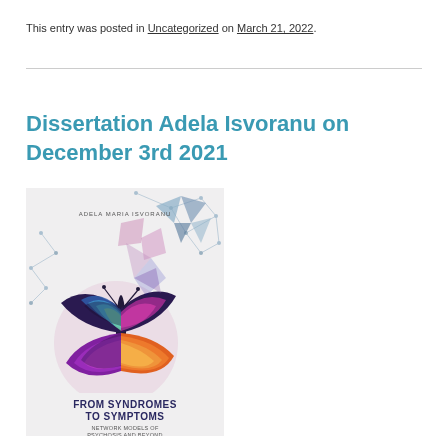This entry was posted in Uncategorized on March 21, 2022.
Dissertation Adela Isvoranu on December 3rd 2021
[Figure (illustration): Book cover of 'From Syndromes to Symptoms: Network Models of Psychosis and Beyond' by Adela Maria Isvoranu, featuring a colorful butterfly made of geometric shapes on a light background with connected network nodes.]